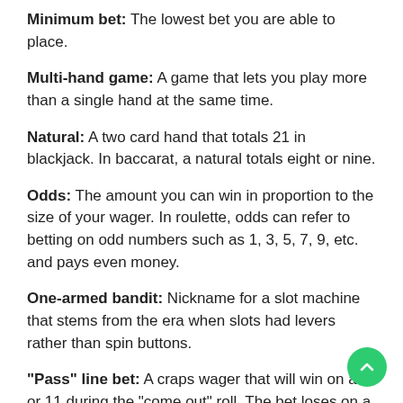Minimum bet: The lowest bet you are able to place.
Multi-hand game: A game that lets you play more than a single hand at the same time.
Natural: A two card hand that totals 21 in blackjack. In baccarat, a natural totals eight or nine.
Odds: The amount you can win in proportion to the size of your wager. In roulette, odds can refer to betting on odd numbers such as 1, 3, 5, 7, 9, etc. and pays even money.
One-armed bandit: Nickname for a slot machine that stems from the era when slots had levers rather than spin buttons.
"Pass" line bet: A craps wager that will win on a 7 or 11 during the "come out" roll. The bet loses on a 2, 3, or 12, while rolling any other number will establish the